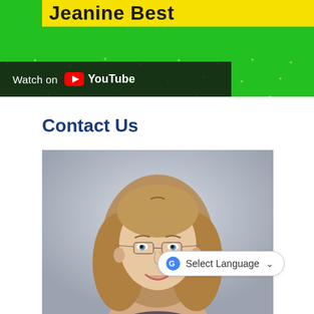[Figure (screenshot): YouTube video thumbnail for Jeanine Best, showing green background with yellow banner and YouTube 'Watch on' bar overlay]
Contact Us
[Figure (photo): Professional headshot of a middle-aged woman with shoulder-length blonde hair wearing glasses, smiling, against a light gray background]
Select Language